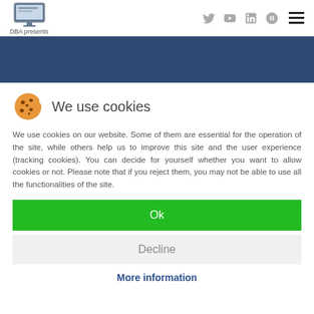DBA presents [logo with social icons: Twitter, YouTube, LinkedIn, Book, hamburger menu]
[Figure (other): Dark blue banner/hero area]
We use cookies
We use cookies on our website. Some of them are essential for the operation of the site, while others help us to improve this site and the user experience (tracking cookies). You can decide for yourself whether you want to allow cookies or not. Please note that if you reject them, you may not be able to use all the functionalities of the site.
Ok
Decline
More information